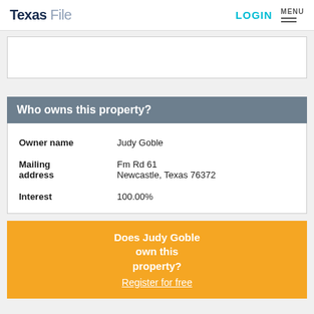Texas File | LOGIN | MENU
[Figure (other): Advertisement banner placeholder (white box)]
Who owns this property?
| Field | Value |
| --- | --- |
| Owner name | Judy Goble |
| Mailing address | Fm Rd 61
Newcastle, Texas 76372 |
| Interest | 100.00% |
Does Judy Goble own this property? Register for free